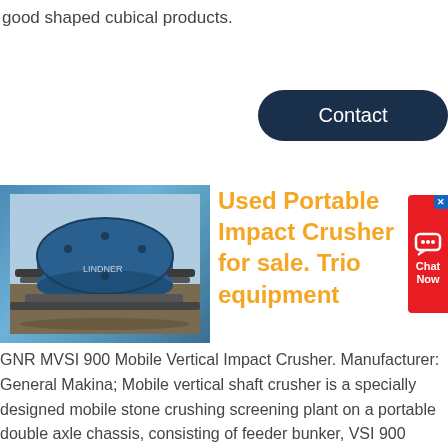good shaped cubical products.
Contact
[Figure (photo): Blue cylindrical mobile vertical shaft impact crusher mounted on a chassis/frame]
Used Portable Impact Crusher for sale. Trio equipment
[Figure (other): Red chat widget with speech bubble icon and 'Chat Now' text]
GNR MVSI 900 Mobile Vertical Impact Crusher. Manufacturer: General Makina; Mobile vertical shaft crusher is a specially designed mobile stone crushing screening plant on a portable double axle chassis, consisting of feeder bunker, VSI 900 Vertical shaft impact crusher, vibrating screen